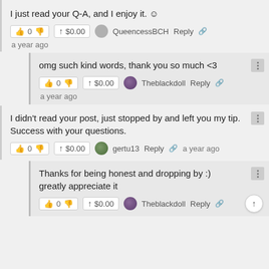I just read your Q-A, and I enjoy it. ☺
👍 0 👎  ↑ $0.00  QueencessBCH  Reply 🔗
a year ago
omg such kind words, thank you so much <3
👍 0 👎  ↑ $0.00  Theblackdoll  Reply 🔗
a year ago
I didn't read your post, just stopped by and left you my tip. Success with your questions.
👍 0 👎  ↑ $0.00  gertu13  Reply 🔗  a year ago
Thanks for being honest and dropping by :) greatly appreciate it
👍 0 👎  ↑ $0.00  Theblackdoll  Reply 🔗